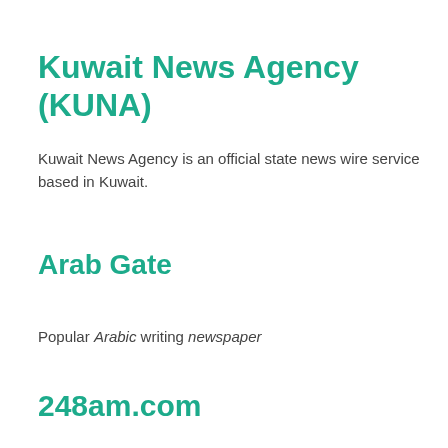Kuwait News Agency (KUNA)
Kuwait News Agency is an official state news wire service based in Kuwait.
Arab Gate
Popular Arabic writing newspaper
248am.com